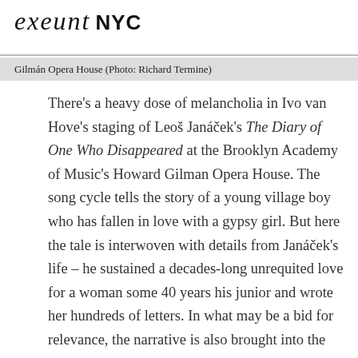exeunt NYC
Gilmán Opera House (Photo: Richard Termine)
There's a heavy dose of melancholia in Ivo van Hove's staging of Leoš Janáček's The Diary of One Who Disappeared at the Brooklyn Academy of Music's Howard Gilman Opera House. The song cycle tells the story of a young village boy who has fallen in love with a gypsy girl. But here the tale is interwoven with details from Janáček's life – he sustained a decades-long unrequited love for a woman some 40 years his junior and wrote her hundreds of letters. In what may be a bid for relevance, the narrative is also brought into the mid-